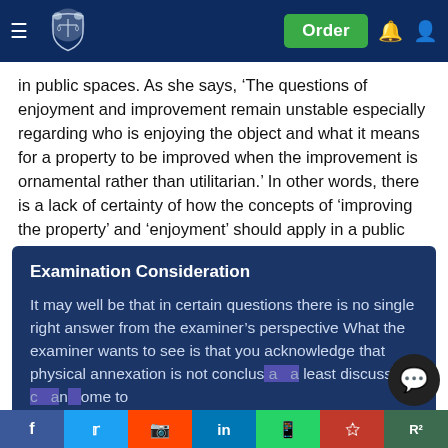Order [navigation header with logo, hamburger menu, order button, notification and profile icons]
in public spaces. As she says, ‘The questions of enjoyment and improvement remain unstable especially regarding who is enjoying the object and what it means for a property to be improved when the improvement is ornamental rather than utilitarian.’ In other words, there is a lack of certainty of how the concepts of ‘improving the property’ and ‘enjoyment’ should apply in a public space context.
Examination Consideration
It may well be that in certain questions there is no single right answer from the examiner’s perspective What the examiner wants to see is that you acknowledge that physical annexation is not conclusive and at least discuss n that a n ome to